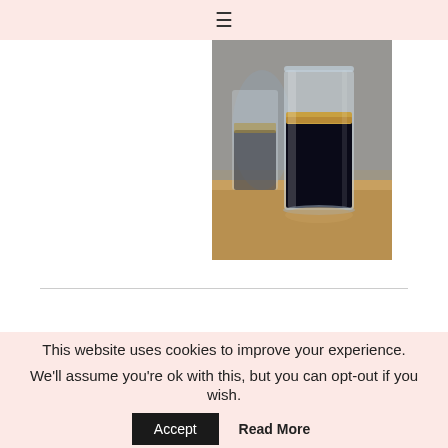≡
[Figure (photo): A glass of espresso or dark coffee with a layer of foam/crema on top, placed on a wooden surface. Another glass partially visible in the background. Close-up photo with blurred background.]
This website uses cookies to improve your experience. We'll assume you're ok with this, but you can opt-out if you wish.
Accept   Read More